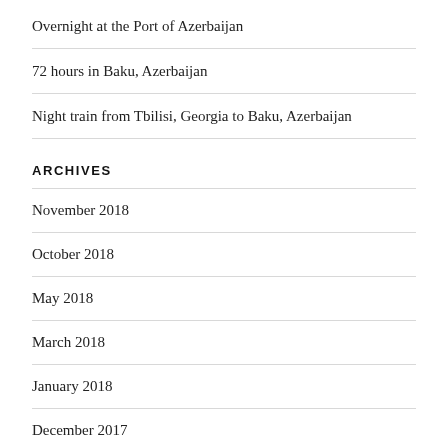Overnight at the Port of Azerbaijan
72 hours in Baku, Azerbaijan
Night train from Tbilisi, Georgia to Baku, Azerbaijan
ARCHIVES
November 2018
October 2018
May 2018
March 2018
January 2018
December 2017